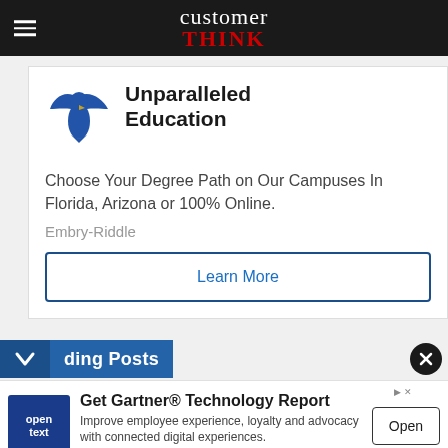customer THINK
[Figure (infographic): Embry-Riddle advertisement with eagle logo. Headline: Unparalleled Education. Body: Choose Your Degree Path on Our Campuses In Florida, Arizona or 100% Online. Brand: Embry-Riddle. Button: Learn More.]
Unparalleled Education
Choose Your Degree Path on Our Campuses In Florida, Arizona or 100% Online.
Embry-Riddle
ding Posts
[Figure (infographic): OpenText advertisement. Title: Get Gartner® Technology Report. Body: Improve employee experience, loyalty and advocacy with connected digital experiences. Brand: OpenText. Button: Open.]